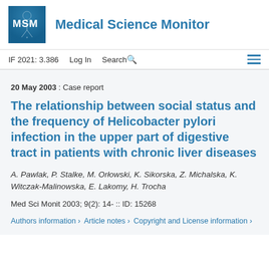[Figure (logo): MSM Medical Science Monitor journal logo with blue MSM initials box and journal name]
IF 2021: 3.386   Log In   Search   ☰
20 May 2003 : Case report
The relationship between social status and the frequency of Helicobacter pylori infection in the upper part of digestive tract in patients with chronic liver diseases
A. Pawlak, P. Stalke, M. Orłowski, K. Sikorska, Z. Michalska, K. Witczak-Malinowska, E. Lakomy, H. Trocha
Med Sci Monit 2003; 9(2): 14- :: ID: 15268
Authors information >   Article notes >   Copyright and License information >